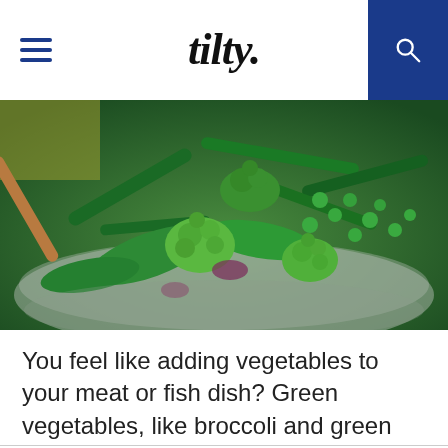tilty.
[Figure (photo): A bowl filled with green vegetables including broccoli, romanesco, sugar snap peas, green beans, and peas.]
You feel like adding vegetables to your meat or fish dish? Green vegetables, like broccoli and green beans, cook very fast, in less than 10 minutes once the water is boiled. Don’t let them boil too long.